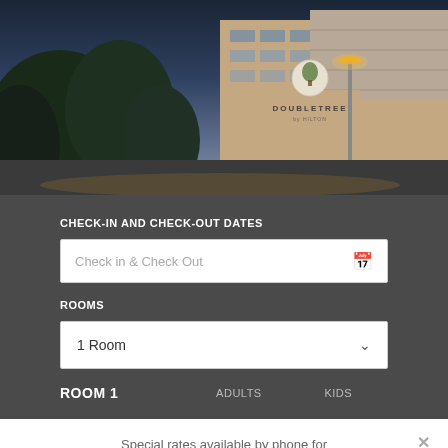[Figure (photo): Exterior photo of a Doubletree by Hilton hotel building at dusk/twilight, showing the hotel facade with illuminated signage, trees in foreground, and parking structure visible.]
CHECK-IN AND CHECK-OUT DATES
Check in & Check Out
ROOMS
1 Room
ROOM 1    ADULTS    KIDS
Special rates available by phone for Cleveland
Call Now: (844) 656-1783